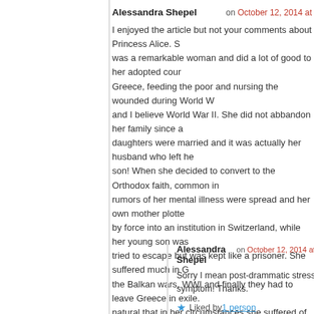Alessandra Shepel  on October 12, 2014 at
I enjoyed the article but not your comments about Princess Alice. S... was a remarkable woman and did a lot of good to her adopted cour... Greece, feeding the poor and nursing the wounded during World W... and I believe World War II. She did not abbandon her family since a... daughters were married and it was actually her husband who left he... son! When she decided to convert to the Orthodox faith, common in... rumors of her mental illness were spread and her own mother plotte... by force into an institution in Switzerland, while her young son was... tried to escape but was kept like a prisoner. She suffered much in G... the Balkan wars, WWI and finally they had to leave Greece in exile.... natural that in her circumstances she suffered of post-drammatic st... like many soldiers or people in similar circumstances…
Liked by 2 people
Alessandra Shepel  on October 12, 2014 at 9
Sorry I mean post-drammatic stress symptom! Thanks.
Liked by 1 person